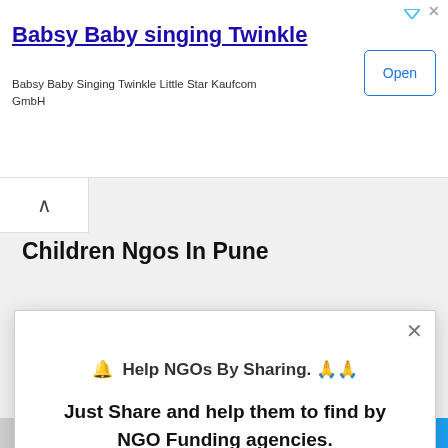[Figure (screenshot): Advertisement banner for 'Babsy Baby singing Twinkle' app by Kaufcom GmbH with an 'Open' button]
Babsy Baby singing Twinkle
Babsy Baby Singing Twinkle Little Star Kaufcom GmbH
Children Ngos In Pune
🔔 Help NGOs By Sharing. 🙏
Just Share and help them to find by NGO Funding agencies.
[Figure (infographic): Social sharing icons: Facebook, Twitter, LinkedIn, Pinterest, Email, More (+)]
AddThis